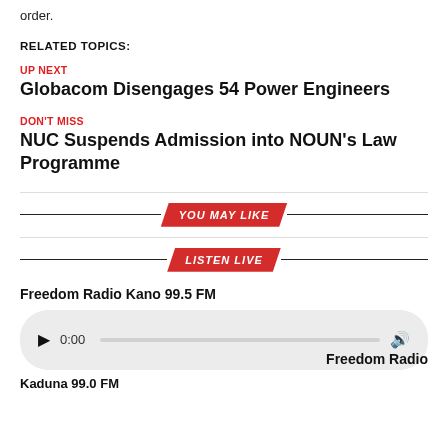order.
RELATED TOPICS:
UP NEXT
Globacom Disengages 54 Power Engineers
DON'T MISS
NUC Suspends Admission into NOUN's Law Programme
[Figure (infographic): YOU MAY LIKE banner with red parallelogram badge between two horizontal lines]
[Figure (infographic): LISTEN LIVE banner with red parallelogram badge between two horizontal lines]
Freedom Radio Kano 99.5 FM
[Figure (other): Audio player bar showing play button, 0:00 timestamp, progress bar, and volume icon on a light grey rounded rectangle background]
Freedom Radio
Kaduna 99.0 FM